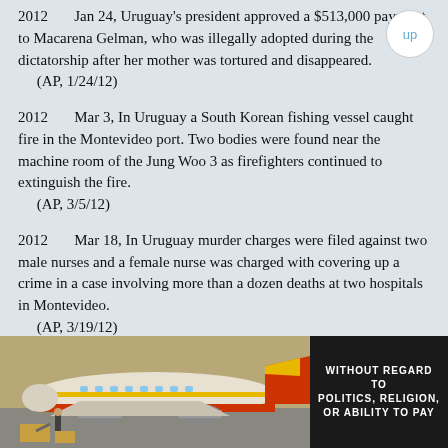2012  Jan 24, Uruguay's president approved a $513,000 payment to Macarena Gelman, who was illegally adopted during the dictatorship after her mother was tortured and disappeared. (AP, 1/24/12)
2012  Mar 3, In Uruguay a South Korean fishing vessel caught fire in the Montevideo port. Two bodies were found near the machine room of the Jung Woo 3 as firefighters continued to extinguish the fire. (AP, 3/5/12)
2012  Mar 18, In Uruguay murder charges were filed against two male nurses and a female nurse was charged with covering up a crime in a case involving more than a dozen deaths at two hospitals in Montevideo. (AP, 3/19/12)
2012  Jun 20, Uruguay announced plans to have its government sell marijuana to take drug profits out of the hands of dealers. The defense...
[Figure (photo): Advertisement banner showing a cargo airplane on the ground with Southwest Airlines livery and text 'WITHOUT REGARD TO POLITICS, RELIGION, OR ABILITY TO PAY']